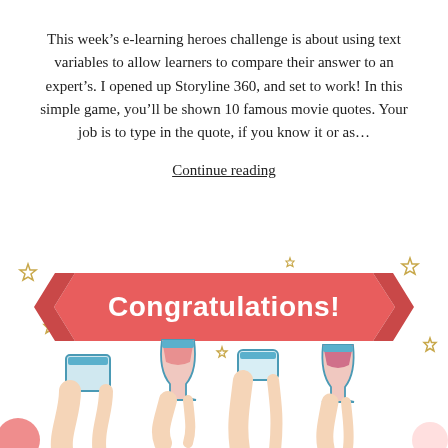This week's e-learning heroes challenge is about using text variables to allow learners to compare their answer to an expert's. I opened up Storyline 360, and set to work! In this simple game, you'll be shown 10 famous movie quotes. Your job is to type in the quote, if you know it or as...
Continue reading
[Figure (illustration): Congratulations banner in red/coral ribbon with white bold text, surrounded by star decorations, with illustration of hands toasting with various drinks (glasses of wine, cups) in cartoon style with blue and coral colors.]